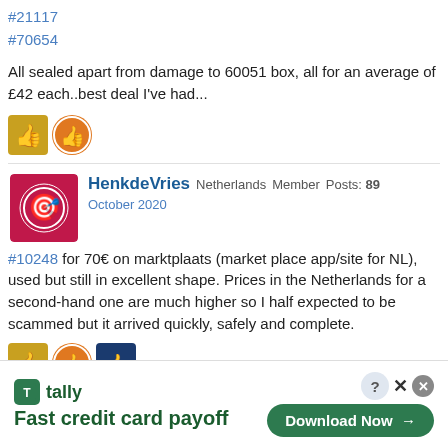#21117
#70654
All sealed apart from damage to 60051 box, all for an average of £42 each..best deal I've had...
[Figure (other): Two reaction emoji icons (thumbs up)]
HenkdeVries Netherlands Member Posts: 89
October 2020
#10248 for 70€ on marktplaats (market place app/site for NL), used but still in excellent shape. Prices in the Netherlands for a second-hand one are much higher so I half expected to be scammed but it arrived quickly, safely and complete.
[Figure (other): Three reaction emoji icons]
Switchfoot55 The Northwest, USA Member Posts: 2,776
October 2020
[Figure (other): Tally advertisement: Fast credit card payoff, Download Now button]